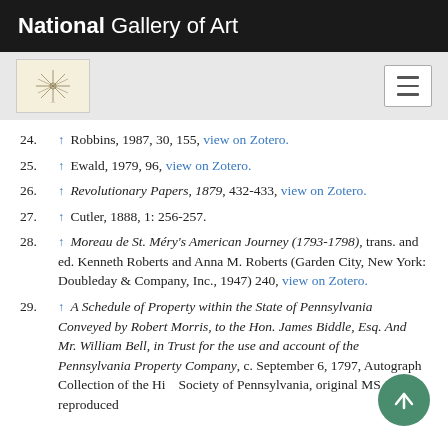National Gallery of Art
24. ↑ Robbins, 1987, 30, 155, view on Zotero.
25. ↑ Ewald, 1979, 96, view on Zotero.
26. ↑ Revolutionary Papers, 1879, 432-433, view on Zotero.
27. ↑ Cutler, 1888, 1: 256-257.
28. ↑ Moreau de St. Méry's American Journey (1793-1798), trans. and ed. Kenneth Roberts and Anna M. Roberts (Garden City, New York: Doubleday & Company, Inc., 1947) 240, view on Zotero.
29. ↑ A Schedule of Property within the State of Pennsylvania Conveyed by Robert Morris, to the Hon. James Biddle, Esq. And Mr. William Bell, in Trust for the use and account of the Pennsylvania Property Company, c. September 6, 1797, Autograph Collection of the Historical Society of Pennsylvania, original MS reproduced